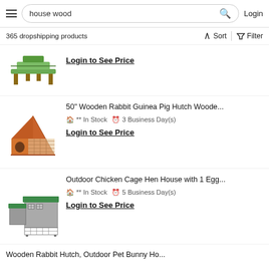house wood — Login
365 dropshipping products
[Figure (photo): Partial product image of a wooden toy/house structure (green and brown)]
Login to See Price
[Figure (photo): 50 inch wooden rabbit guinea pig hutch — orange/brown triangular wooden enclosure with mesh sides]
50" Wooden Rabbit Guinea Pig Hutch Woode...
** In Stock   3 Business Day(s)
Login to See Price
[Figure (photo): Outdoor Chicken Cage Hen House — grey structure with green roof and wire mesh run]
Outdoor Chicken Cage Hen House with 1 Egg...
** In Stock   5 Business Day(s)
Login to See Price
Wooden Rabbit Hutch, Outdoor Pet Bunny Ho...